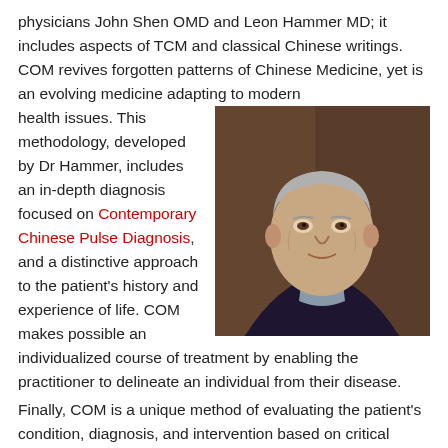physicians John Shen OMD and Leon Hammer MD; it includes aspects of TCM and classical Chinese writings. COM revives forgotten patterns of Chinese Medicine, yet is an evolving medicine adapting to modern health issues. This methodology, developed by Dr Hammer, includes an in-depth diagnosis focused on Contemporary Chinese Pulse Diagnosis, and a distinctive approach to the patient's history and experience of life. COM makes possible an individualized course of treatment by enabling the practitioner to delineate an individual from their disease.
[Figure (photo): Portrait photo of an elderly man (Dr. Hammer) wearing a dark jacket and grey shirt, with a decorative patterned background.]
Finally, COM is a unique method of evaluating the patient's condition, diagnosis, and intervention based on critical thinking. It leads to an organized hierarchy which identifies root causes, immediate interventions, referrals, life style counseling and treatment methods.